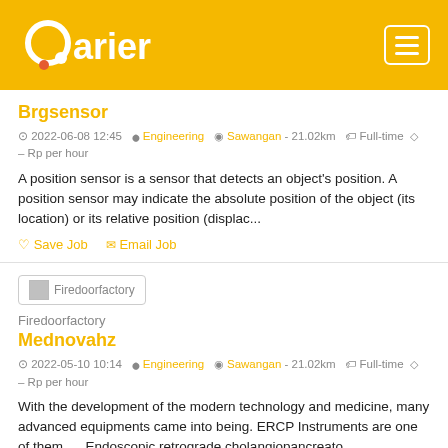[Figure (logo): Qarier logo in white on yellow background with orange dot]
Qarier — job listing website header with hamburger menu
Brgsensor
2022-06-08 12:45  Engineering  Sawangan - 21.02km  Full-time  – Rp per hour
A position sensor is a sensor that detects an object's position. A position sensor may indicate the absolute position of the object (its location) or its relative position (displac...
Save Job   Email Job
[Figure (logo): Firedoorfactory company logo image placeholder]
Firedoorfactory
Mednovahz
2022-05-10 10:14  Engineering  Sawangan - 21.02km  Full-time  – Rp per hour
With the development of the modern technology and medicine, many advanced equipments came into being. ERCP Instruments are one of them.    Endoscopic retrograde cholangiopancreato...
Save Job   Email Job